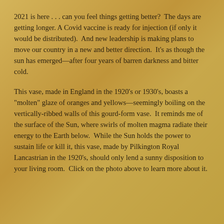2021 is here . . . can you feel things getting better?  The days are getting longer. A Covid vaccine is ready for injection (if only it would be distributed).  And new leadership is making plans to move our country in a new and better direction.  It's as though the sun has emerged—after four years of barren darkness and bitter cold.
This vase, made in England in the 1920's or 1930's, boasts a "molten" glaze of oranges and yellows—seemingly boiling on the vertically-ribbed walls of this gourd-form vase.  It reminds me of the surface of the Sun, where swirls of molten magma radiate their energy to the Earth below.  While the Sun holds the power to sustain life or kill it, this vase, made by Pilkington Royal Lancastrian in the 1920's, should only lend a sunny disposition to your living room.  Click on the photo above to learn more about it.